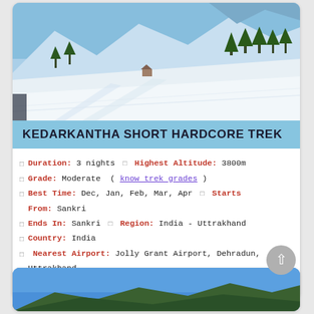[Figure (photo): Snow-covered mountain landscape with trees and ski tracks, clear blue sky — Kedarkantha region]
KEDARKANTHA SHORT HARDCORE TREK
Duration: 3 nights  Highest Altitude: 3800m
Grade: Moderate ( know trek grades )
Best Time: Dec, Jan, Feb, Mar, Apr  Starts From: Sankri
Ends In: Sankri  Region: India - Uttrakhand
Country: India
Nearest Airport: Jolly Grant Airport, Dehradun, Uttrakhand
Nearest Rail Head: Dehradun, Uttrakhand
[Figure (photo): Partial view of another trek card with blue sky and green hills visible at the bottom of the page]